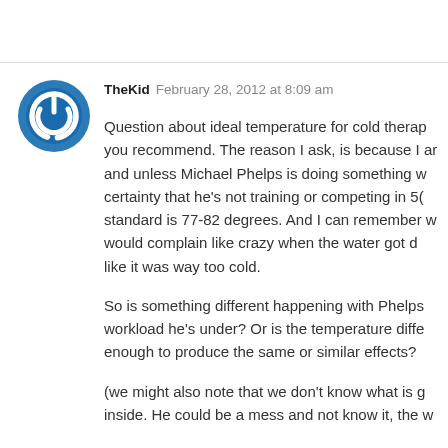[Figure (logo): Blue circular power button icon used as avatar for user TheKid]
TheKid  February 28, 2012 at 8:09 am
Question about ideal temperature for cold therapy you recommend. The reason I ask, is because I am and unless Michael Phelps is doing something w certainty that he's not training or competing in 50 standard is 77-82 degrees. And I can remember w would complain like crazy when the water got d like it was way too cold.
So is something different happening with Phelps workload he's under? Or is the temperature diffe enough to produce the same or similar effects?
(we might also note that we don't know what is g inside. He could be a mess and not know it, the w